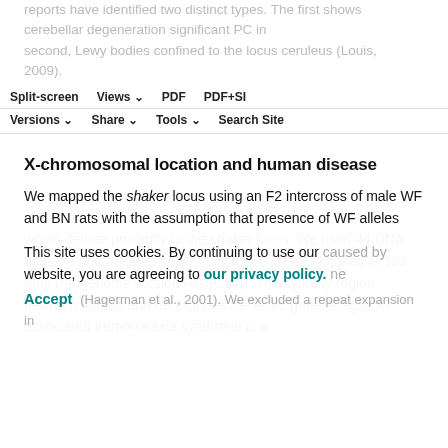reports have identified two distinct types. The first shows cerebellar degeneration significant PC ine second, Lewy bodies confined to the locus ceruleus (Louis, 2009).
Split-screen | Views | PDF | PDF+SI | Versions | Share | Tools | Search Site
X-chromosomal location and human disease
We mapped the shaker locus using an F2 intercross of male WF and BN rats with the assumption that presence of WF alleles would denote proximity to the shaker locus. We used 44 DNA markers and mapped shaker distal to DXRat21 located at 133 Mbp (rat genome version RGSC3.4). The synteny region between human and rat includes the Fmr1 gene. Fragile X-associated tremor/ataxia syndrome is a
caused by ene (Hagerman et al., 2001). We excluded a repeat expansion in
This site uses cookies. By continuing to use our website, you are agreeing to our privacy policy. Accept